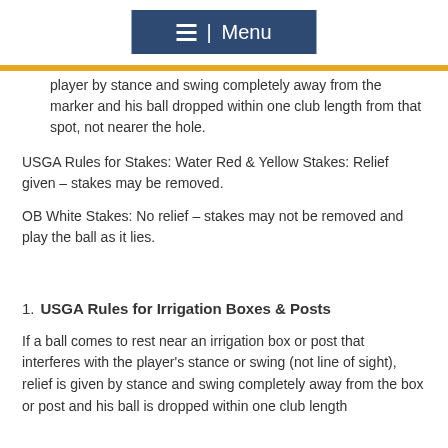[Figure (other): Navigation menu bar with hamburger icon and 'Menu' text on dark blue background]
player by stance and swing completely away from the marker and his ball dropped within one club length from that spot, not nearer the hole.
USGA Rules for Stakes: Water Red & Yellow Stakes: Relief given – stakes may be removed.
OB White Stakes: No relief – stakes may not be removed and play the ball as it lies.
USGA Rules for Irrigation Boxes & Posts
If a ball comes to rest near an irrigation box or post that interferes with the player's stance or swing (not line of sight), relief is given by stance and swing completely away from the box or post and his ball is dropped within one club length from that spot, not nearer the hole.